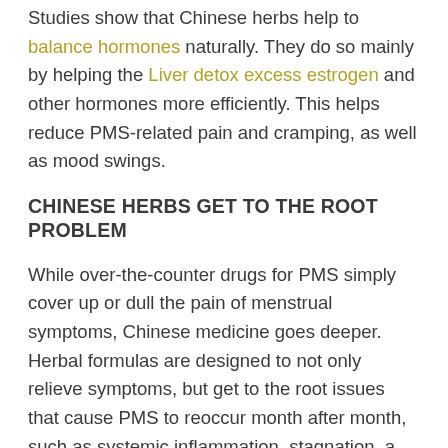Studies show that Chinese herbs help to balance hormones naturally. They do so mainly by helping the Liver detox excess estrogen and other hormones more efficiently. This helps reduce PMS-related pain and cramping, as well as mood swings.
CHINESE HERBS GET TO THE ROOT PROBLEM
While over-the-counter drugs for PMS simply cover up or dull the pain of menstrual symptoms, Chinese medicine goes deeper. Herbal formulas are designed to not only relieve symptoms, but get to the root issues that cause PMS to reoccur month after month, such as systemic inflammation, stagnation, a lack of nourishment, or another root cause.